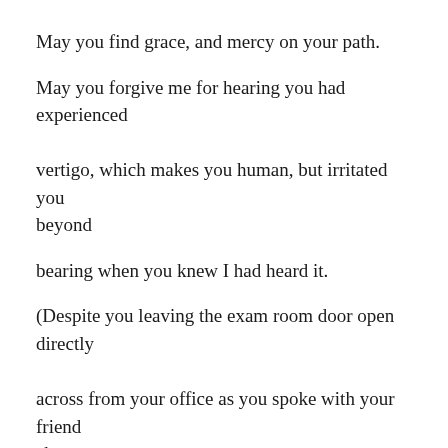May you find grace, and mercy on your path.
May you forgive me for hearing you had experienced vertigo, which makes you human, but irritated you beyond
bearing when you knew I had heard it.
(Despite you leaving the exam room door open directly across from your office as you spoke with your friend about
this issue).  Next time I will feign indifference, but use Tonglen
to help me understand your embarrassment and pain.